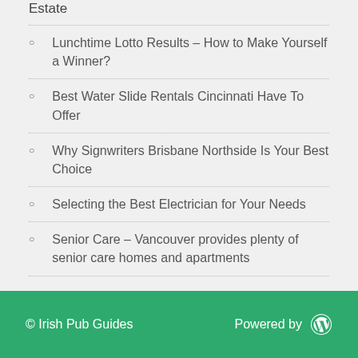Estate
Lunchtime Lotto Results – How to Make Yourself a Winner?
Best Water Slide Rentals Cincinnati Have To Offer
Why Signwriters Brisbane Northside Is Your Best Choice
Selecting the Best Electrician for Your Needs
Senior Care – Vancouver provides plenty of senior care homes and apartments
© Irish Pub Guides   Powered by